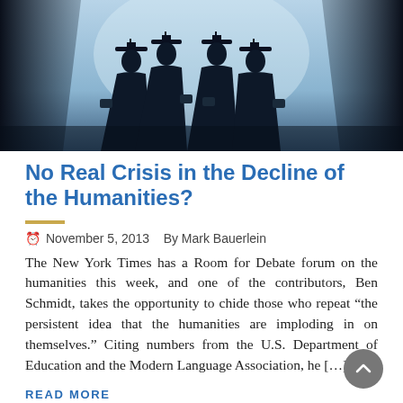[Figure (photo): Silhouette of four graduates in caps and gowns holding diplomas, seen from below against a bright sky, framed by large columns]
No Real Crisis in the Decline of the Humanities?
November 5, 2013    By Mark Bauerlein
The New York Times has a Room for Debate forum on the humanities this week, and one of the contributors, Ben Schmidt, takes the opportunity to chide those who repeat “the persistent idea that the humanities are imploding in on themselves.” Citing numbers from the U.S. Department of Education and the Modern Language Association, he […]
READ MORE